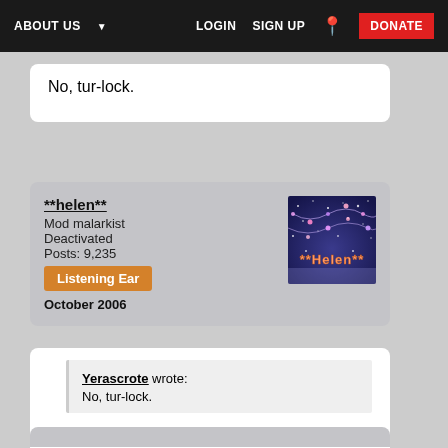ABOUT US  LOGIN  SIGN UP  DONATE
No, tur-lock.
**helen**
Mod malarkist
Deactivated
Posts: 9,235
Listening Ear
October 2006
Yerascrote wrote:
No, tur-lock.
A ha - that's a revelation. Us dozy ones at TheSite towers have been saying tur-low for all these years 😊